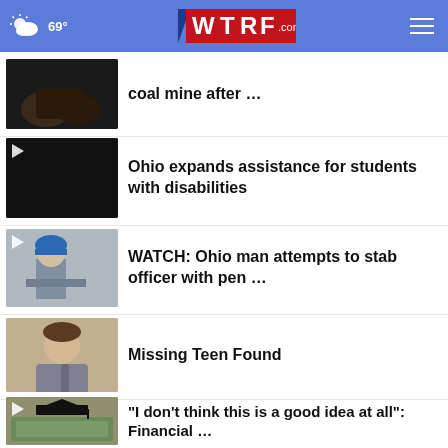69° WTRF.com
coal mine after …
Ohio expands assistance for students with disabilities
WATCH: Ohio man attempts to stab officer with pen …
Missing Teen Found
“I don’t think this is a good idea at all”: Financial …
More Stories ›